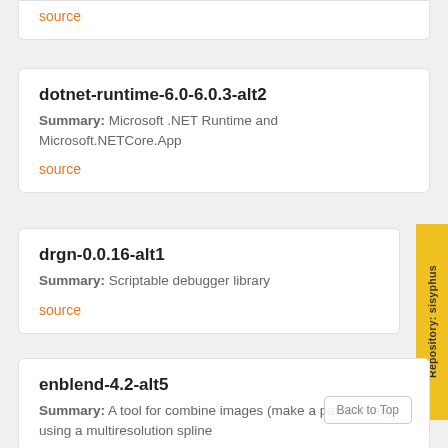source
dotnet-runtime-6.0-6.0.3-alt2
Summary: Microsoft .NET Runtime and Microsoft.NETCore.App
source
drgn-0.0.16-alt1
Summary: Scriptable debugger library
source
enblend-4.2-alt5
Summary: A tool for combine images (make a panoramas) using a multiresolution spline
Repository: sisyphus
Back to Top